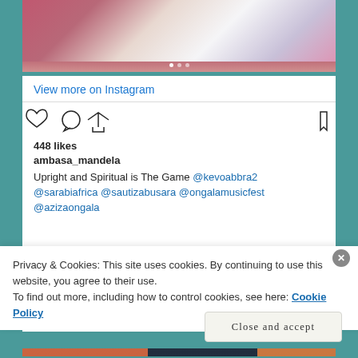[Figure (photo): Partial view of a person in white outfit on stage, cropped screenshot from Instagram]
View more on Instagram
448 likes
ambasa_mandela
Upright and Spiritual is The Game @kevoabbra2 @sarabiafrica @sautizabusara @ongalamusicfest @azizaongala
Privacy & Cookies: This site uses cookies. By continuing to use this website, you agree to their use.
To find out more, including how to control cookies, see here: Cookie Policy
Close and accept